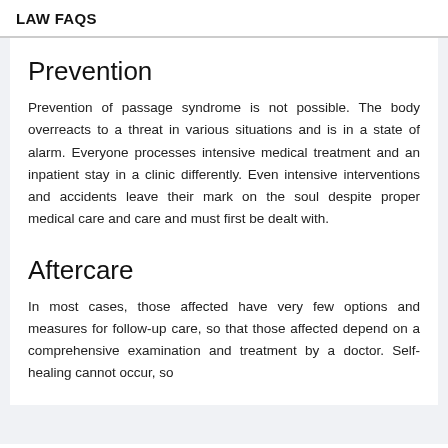LAW FAQS
Prevention
Prevention of passage syndrome is not possible. The body overreacts to a threat in various situations and is in a state of alarm. Everyone processes intensive medical treatment and an inpatient stay in a clinic differently. Even intensive interventions and accidents leave their mark on the soul despite proper medical care and care and must first be dealt with.
Aftercare
In most cases, those affected have very few options and measures for follow-up care, so that those affected depend on a comprehensive examination and treatment by a doctor. Self-healing cannot occur, so